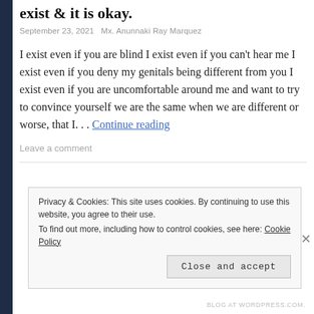exist & it is okay.
September 23, 2021   Mx. Anunnaki Ray Marquez
I exist even if you are blind I exist even if you can't hear me I exist even if you deny my genitals being different from you I exist even if you are uncomfortable around me and want to try to convince yourself we are the same when we are different or worse, that I. . . Continue reading
Leave a comment
Privacy & Cookies: This site uses cookies. By continuing to use this website, you agree to their use.
To find out more, including how to control cookies, see here: Cookie Policy
Close and accept